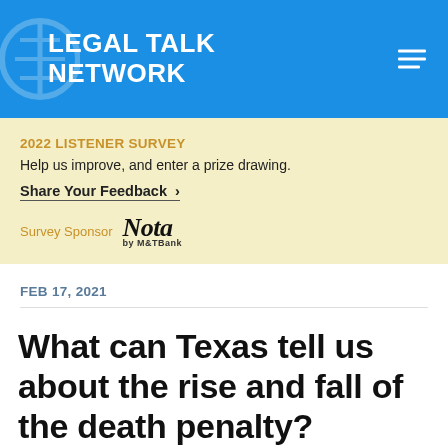[Figure (logo): Legal Talk Network logo — white text on blue background with watermark scale icon and hamburger menu]
2022 LISTENER SURVEY
Help us improve, and enter a prize drawing.
Share Your Feedback >
Survey Sponsor  Nota by M&T Bank
FEB 17, 2021
What can Texas tell us about the rise and fall of the death penalty?